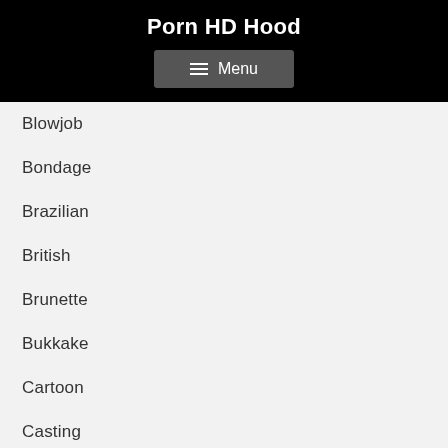Porn HD Hood
Menu
Blowjob
Bondage
Brazilian
British
Brunette
Bukkake
Cartoon
Casting
Celebrity
Closed Captions
College